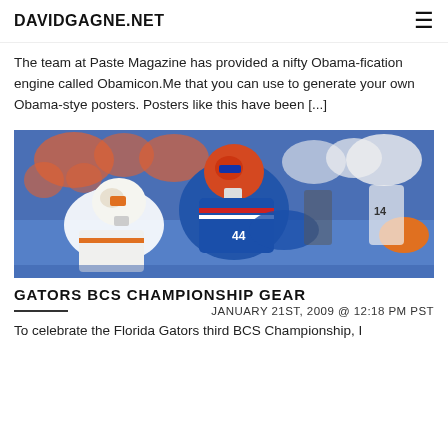DAVIDGAGNE.NET
The team at Paste Magazine has provided a nifty Obama-fication engine called Obamicon.Me that you can use to generate your own Obama-stye posters. Posters like this have been [...]
[Figure (photo): Football players in action, Florida Gators player in blue and orange uniform tackling a Tennessee player in white and orange uniform, crowd in background]
GATORS BCS CHAMPIONSHIP GEAR
JANUARY 21ST, 2009 @ 12:18 PM PST
To celebrate the Florida Gators third BCS Championship, I